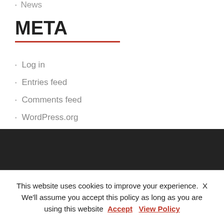News
META
Log in
Entries feed
Comments feed
WordPress.org
Main office:
This website uses cookies to improve your experience.  X
We'll assume you accept this policy as long as you are using this website  Accept  View Policy